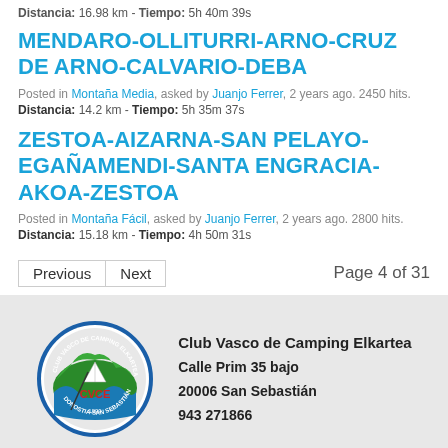Distancia: 16.98 km - Tiempo: 5h 40m 39s
MENDARO-OLLITURRI-ARNO-CRUZ DE ARNO-CALVARIO-DEBA
Posted in Montaña Media, asked by Juanjo Ferrer, 2 years ago. 2450 hits.
Distancia: 14.2 km - Tiempo: 5h 35m 37s
ZESTOA-AIZARNA-SAN PELAYO-EGAÑAMENDI-SANTA ENGRACIA-AKOA-ZESTOA
Posted in Montaña Fácil, asked by Juanjo Ferrer, 2 years ago. 2800 hits.
Distancia: 15.18 km - Tiempo: 4h 50m 31s
Previous  Next  Page 4 of 31
[Figure (logo): Club Vasco de Camping Elkartea circular logo with green and blue colors, CVCE letters, and Donostia-San Sebastian text]
Club Vasco de Camping Elkartea
Calle Prim 35 bajo
20006 San Sebastián
943 271866